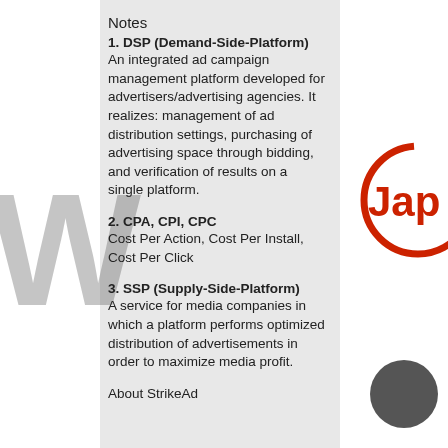Notes
1. DSP (Demand-Side-Platform)
An integrated ad campaign management platform developed for advertisers/advertising agencies. It realizes: management of ad distribution settings, purchasing of advertising space through bidding, and verification of results on a single platform.
2. CPA, CPI, CPC
Cost Per Action, Cost Per Install, Cost Per Click
3. SSP (Supply-Side-Platform)
A service for media companies in which a platform performs optimized distribution of advertisements in order to maximize media profit.
About StrikeAd
[Figure (logo): Partial red circle with 'Jap' text visible in red, logo partially cropped at right edge]
[Figure (illustration): Dark gray filled circle at bottom right]